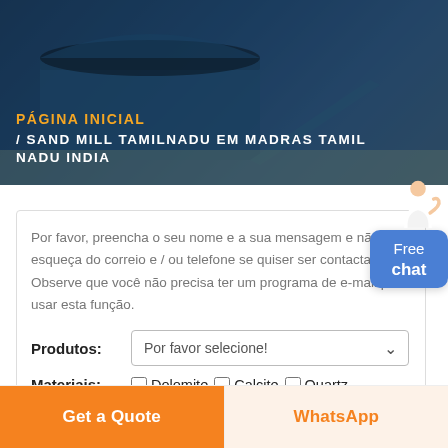[Figure (photo): Industrial facility with blue warehouse/storage building, aerial view, dark blue sky background]
PÁGINA INICIAL / SAND MILL TAMILNADU EM MADRAS TAMIL NADU INDIA
Por favor, preencha o seu nome e a sua mensagem e não se esqueça do correio e / ou telefone se quiser ser contactado. Observe que você não precisa ter um programa de e-mail para usar esta função.
Produtos: Por favor selecione!
Materiais: Dolomite Calcite Quartz Basalt Barite Feldspar
Get a Quote
WhatsApp